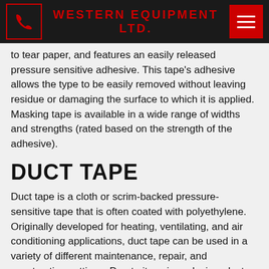WESTERN EQUIPMENT LTD.
to tear paper, and features an easily released pressure sensitive adhesive. This tape's adhesive allows the type to be easily removed without leaving residue or damaging the surface to which it is applied. Masking tape is available in a wide range of widths and strengths (rated based on the strength of the adhesive).
DUCT TAPE
Duct tape is a cloth or scrim-backed pressure-sensitive tape that is often coated with polyethylene. Originally developed for heating, ventilating, and air conditioning applications, duct tape can be used in a variety of different maintenance, repair, and construction settings. Due to its unique design, duct tape is an excellent choice for general indoor applications. This type of tape can be used at temperatures as high as 200 degrees Fahrenheit